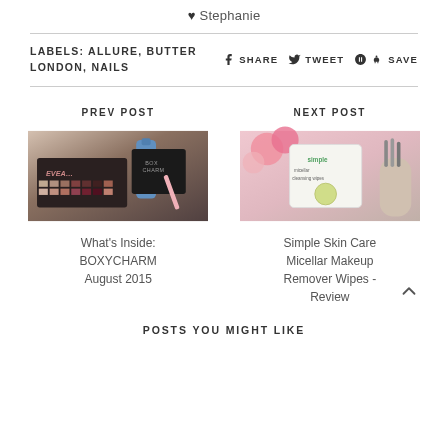♥ Stephanie
LABELS: ALLURE, BUTTER LONDON, NAILS
SHARE  TWEET  SAVE
PREV POST
[Figure (photo): BOXYCHARM beauty subscription box with eyeshadow palette and makeup products]
What's Inside: BOXYCHARM August 2015
NEXT POST
[Figure (photo): Simple Skin Care Micellar Makeup Remover Wipes package with pink flowers in background]
Simple Skin Care Micellar Makeup Remover Wipes - Review
POSTS YOU MIGHT LIKE